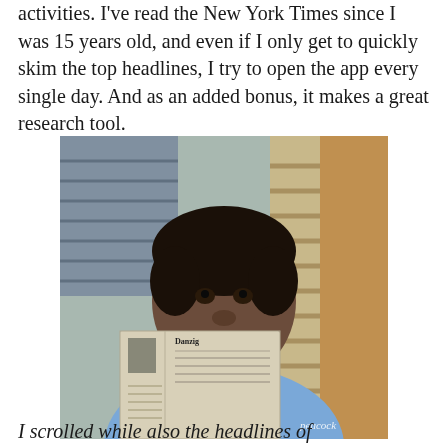activities. I've read the New York Times since I was 15 years old, and even if I only get to quickly skim the top headlines, I try to open the app every single day. And as an added bonus, it makes a great research tool.
[Figure (photo): A man in a blue shirt reading a newspaper, shown from a TV show, with 'peacock' watermark in bottom right corner. The setting appears to be an office with blinds visible in the background.]
I scrolled while also the headlines of